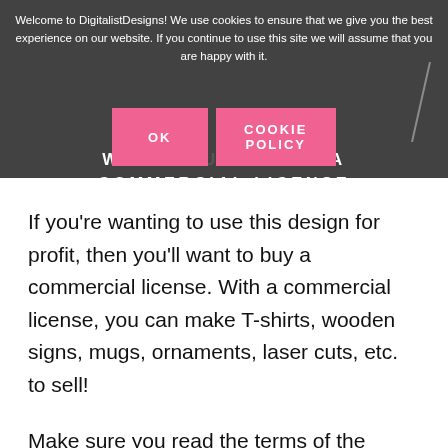etc. with this design), you'll have to purchase a commercial license.
Welcome to DigitalistDesigns! We use cookies to ensure that we give you the best experience on our website. If you continue to use this site we will assume that you are happy with it.
WHAT CAN YOU DO WITH A COMMERCIAL LICENSE
If you're wanting to use this design for profit, then you'll want to buy a commercial license. With a commercial license, you can make T-shirts, wooden signs, mugs, ornaments, laser cuts, etc. to sell!
Make sure you read the terms of the license before purchasing! They are located in the link below.